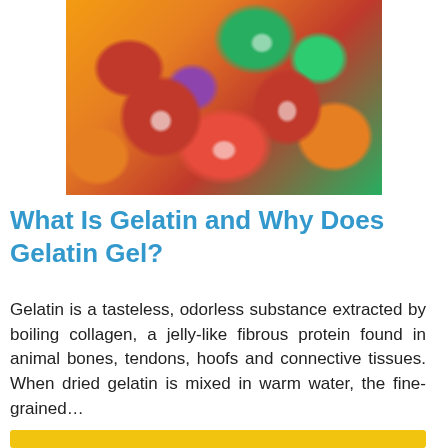[Figure (photo): Close-up photo of colorful sugar-coated fruit slice gummy candies in red, green, orange, yellow, and purple colors piled together.]
What Is Gelatin and Why Does Gelatin Gel?
Gelatin is a tasteless, odorless substance extracted by boiling collagen, a jelly-like fibrous protein found in animal bones, tendons, hoofs and connective tissues. When dried gelatin is mixed in warm water, the fine-grained...